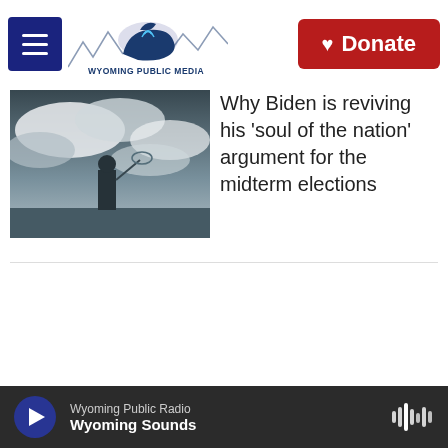Wyoming Public Media — Donate
[Figure (photo): Person standing on tarmac with dramatic cloudy sky background]
Why Biden is reviving his 'soul of the nation' argument for the midterm elections
Related Content
Environmentalists sue after the White House resumed sales of oil and gas leases
Wyoming Public Radio — Wyoming Sounds